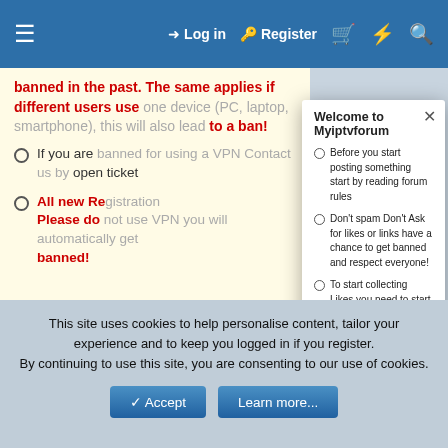≡  Log in  Register  🛒  ⚡  🔍
banned in the past. The same applies if different users use one device (PC, laptop, smartphone), this will also lead to a ban!
If you are banned for using a VPN Contact us by open ticket
All new Registrations Please do not use VPN you will automatically get banned!
[Figure (screenshot): Welcome to Myiptvforum modal dialog with list of forum rules and info about credits/likes system]
< XenForo Add-ons [2.x]
xF2 Add-on in Credit  What's New? Tweak 2.2.1
2.2.1
Register or Upgrade your account to Download
This site uses cookies to help personalise content, tailor your experience and to keep you logged in if you register.
By continuing to use this site, you are consenting to our use of cookies.
✓ Accept   Learn more...